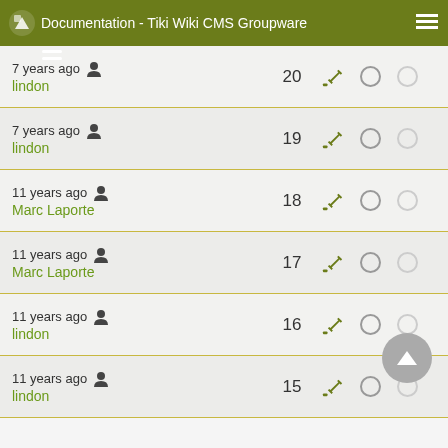Documentation - Tiki Wiki CMS Groupware
| Time/User | Version | Actions | Select1 | Select2 |
| --- | --- | --- | --- | --- |
| 7 years ago / lindon | 20 |  |  |  |
| 7 years ago / lindon | 19 |  |  |  |
| 11 years ago / Marc Laporte | 18 |  |  |  |
| 11 years ago / Marc Laporte | 17 |  |  |  |
| 11 years ago / lindon | 16 |  |  |  |
| 11 years ago / lindon | 15 |  |  |  |